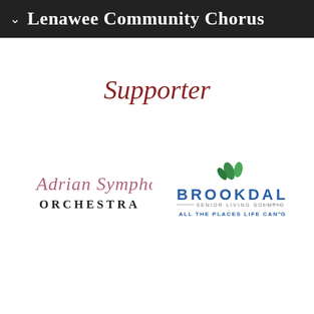Lenawee Community Chorus
Supporter
[Figure (logo): Adrian Symphony Orchestra logo with cursive script and bold orchestra text]
[Figure (logo): Brookdale Senior Living Solutions logo with green leaf graphic and tagline ALL THE PLACES LIFE CAN GO]